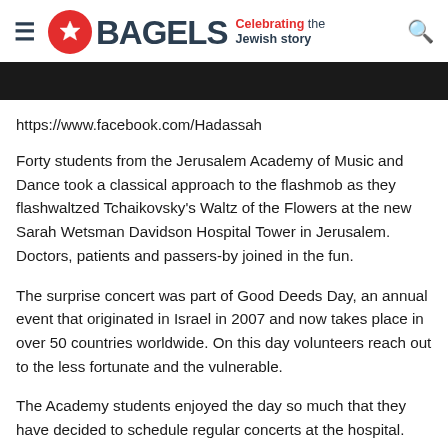BAGELS — Celebrating the Jewish story
https://www.facebook.com/Hadassah
Forty students from the Jerusalem Academy of Music and Dance took a classical approach to the flashmob as they flashwaltzed Tchaikovsky's Waltz of the Flowers at the new Sarah Wetsman Davidson Hospital Tower in Jerusalem. Doctors, patients and passers-by joined in the fun.
The surprise concert was part of Good Deeds Day, an annual event that originated in Israel in 2007 and now takes place in over 50 countries worldwide. On this day volunteers reach out to the less fortunate and the vulnerable.
The Academy students enjoyed the day so much that they have decided to schedule regular concerts at the hospital. Hadassah Medical Organization treats over one million patients annually,